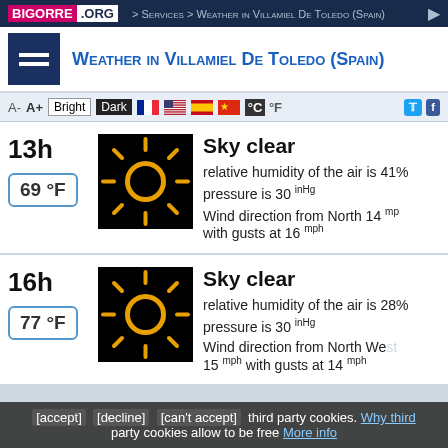BIGORRE.ORG > Services > Weather in Villamiel De Toledo (Spain)
Weather in Villamiel De Toledo (Spain)
A- A+ Bright Dark °C °F
13h
69 °F
Sky clear
relative humidity of the air is 41%
pressure is 30 inHg
Wind direction from North 14 mph with gusts at 16 mph
16h
77 °F
Sky clear
relative humidity of the air is 28%
pressure is 30 inHg
Wind direction from North West 15 mph with gusts at 14 mph
[accept] [decline] [can't accept] third party cookies. Why third party cookies allow to be free More info